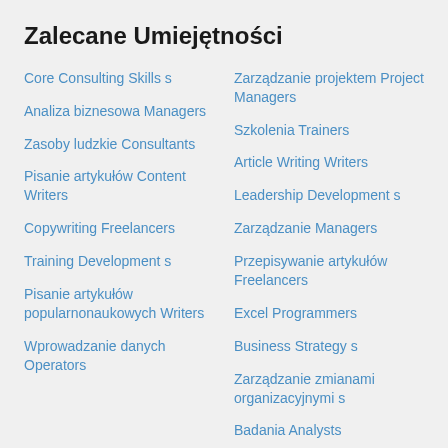Zalecane Umiejętności
Core Consulting Skills s
Analiza biznesowa Managers
Zasoby ludzkie Consultants
Pisanie artykułów Content Writers
Copywriting Freelancers
Training Development s
Pisanie artykułów popularnonaukowych Writers
Wprowadzanie danych Operators
Zarządzanie projektem Project Managers
Szkolenia Trainers
Article Writing Writers
Leadership Development s
Zarządzanie Managers
Przepisywanie artykułów Freelancers
Excel Programmers
Business Strategy s
Zarządzanie zmianami organizacyjnymi s
Badania Analysts
Plany biznesowe Planners